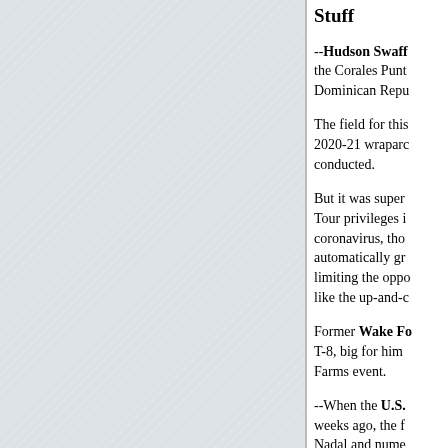[Figure (other): Gray hatched/textured panel occupying the left portion of the page]
Stuff
--Hudson Swaff... the Corales Punt... Dominican Repu...
The field for this... 2020-21 wraparc... conducted.
But it was super... Tour privileges i... coronavirus, tho... automatically gr... limiting the oppo... like the up-and-c...
Former Wake Fo... T-8, big for him... Farms event.
--When the U.S.... weeks ago, the f... Nadal and nume... coronavirus fear... control regarding...